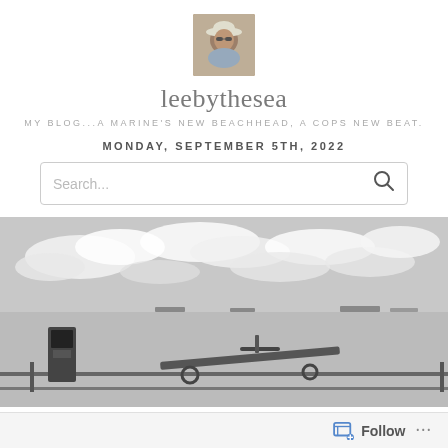[Figure (photo): Profile avatar photo of a person wearing a white cowboy hat and sunglasses at a beach]
leebythesea
MY BLOG...A MARINE'S NEW BEACHHEAD, A COPS NEW BEAT.
MONDAY, SEPTEMBER 5TH, 2022
[Figure (photo): Black and white photo of a seaside/harbor scene with cloudy sky, water with ships in distance, a payphone and what appears to be equipment in the foreground]